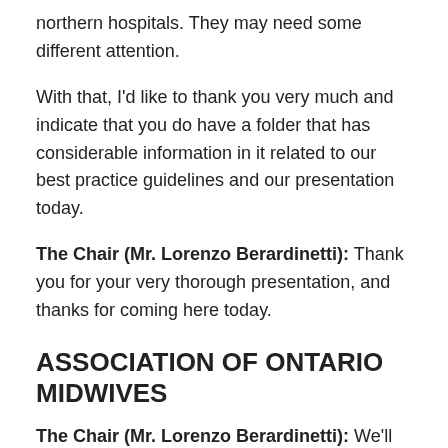northern hospitals. They may need some different attention.
With that, I'd like to thank you very much and indicate that you do have a folder that has considerable information in it related to our best practice guidelines and our presentation today.
The Chair (Mr. Lorenzo Berardinetti): Thank you for your very thorough presentation, and thanks for coming here today.
ASSOCIATION OF ONTARIO MIDWIVES
The Chair (Mr. Lorenzo Berardinetti): We'll move on to our 2:15 deputation, which is the Association of Ontario Midwives. Good afternoon, and welcome.
Ms. Katrina Kilroy: I'm Katrina Kilroy. I'm the president of the Association of Ontario Midwives and I'm a practising midwife at Mount Sinai Hospital down the street. This is